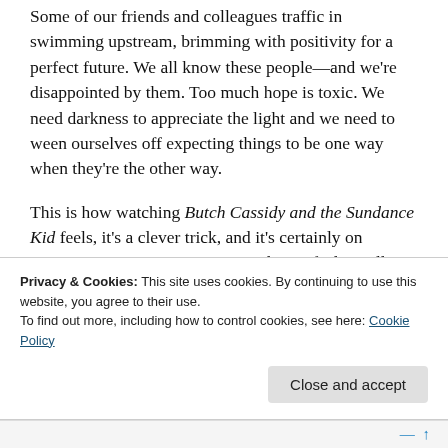Some of our friends and colleagues traffic in swimming upstream, brimming with positivity for a perfect future. We all know these people—and we're disappointed by them. Too much hope is toxic. We need darkness to appreciate the light and we need to ween ourselves off expecting things to be one way when they're the other way.
This is how watching Butch Cassidy and the Sundance Kid feels, it's a clever trick, and it's certainly on purpose. Our experience as an audience feels totally orthogonal to the experiences of titular Butch and his partner, Sundance. Redford and Newman gallop
Privacy & Cookies: This site uses cookies. By continuing to use this website, you agree to their use.
To find out more, including how to control cookies, see here: Cookie Policy
Close and accept